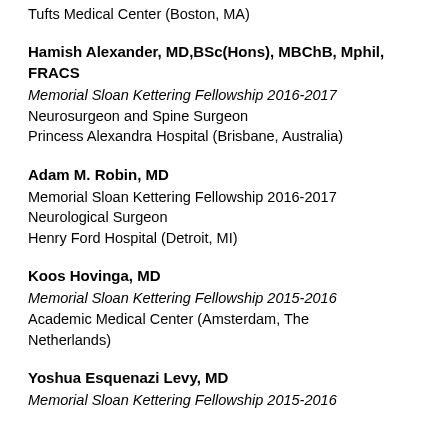Tufts Medical Center (Boston, MA)
Hamish Alexander, MD,BSc(Hons), MBChB, Mphil, FRACS
Memorial Sloan Kettering Fellowship 2016-2017
Neurosurgeon and Spine Surgeon
Princess Alexandra Hospital (Brisbane, Australia)
Adam M. Robin, MD
Memorial Sloan Kettering Fellowship 2016-2017
Neurological Surgeon
Henry Ford Hospital (Detroit, MI)
Koos Hovinga, MD
Memorial Sloan Kettering Fellowship 2015-2016
Academic Medical Center (Amsterdam, The Netherlands)
Yoshua Esquenazi Levy, MD
Memorial Sloan Kettering Fellowship 2015-2016